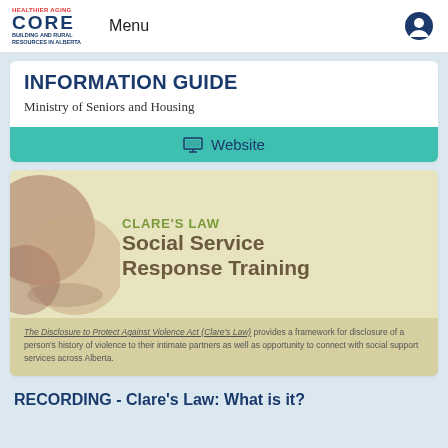CORE | Menu
INFORMATION GUIDE
Ministry of Seniors and Housing
Website
[Figure (illustration): Clare's Law Social Service Response Training banner with decorative circles and text. The Disclosure to Protect Against Violence Act (Clare's Law) provides a framework for disclosure of a person's history of violence to their intimate partners as well as opportunity to connect with social support services across Alberta.]
RECORDING - Clare's Law: What is it?